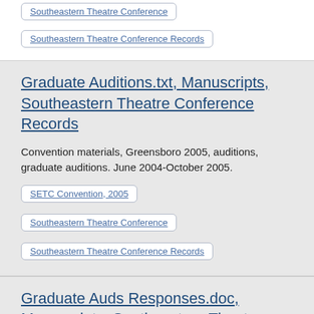Southeastern Theatre Conference
Southeastern Theatre Conference Records
Graduate Auditions.txt, Manuscripts, Southeastern Theatre Conference Records
Convention materials, Greensboro 2005, auditions, graduate auditions. June 2004-October 2005.
SETC Convention, 2005
Southeastern Theatre Conference
Southeastern Theatre Conference Records
Graduate Auds Responses.doc, Manuscripts, Southeastern Theatre Conference Records
Convention materials, Greensboro 2005, auditions,